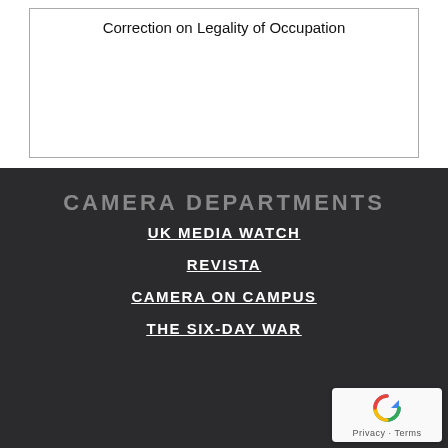Correction on Legality of Occupation
CAMERA DEPARTMENTS
UK MEDIA WATCH
REVISTA
CAMERA ON CAMPUS
THE SIX-DAY WAR
[Figure (logo): reCAPTCHA badge with recycling arrow icon and Privacy - Terms text]